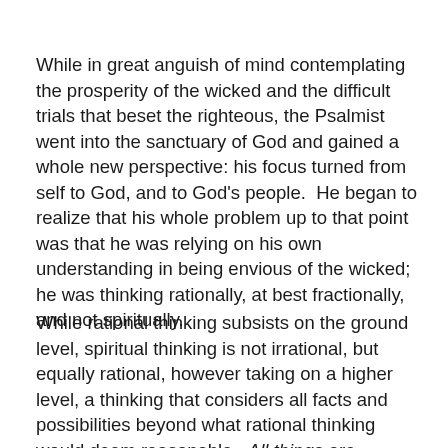While in great anguish of mind contemplating the prosperity of the wicked and the difficult trials that beset the righteous, the Psalmist went into the sanctuary of God and gained a whole new perspective: his focus turned from self to God, and to God's people.  He began to realize that his whole problem up to that point was that he was relying on his own understanding in being envious of the wicked; he was thinking rationally, at best fractionally, and not spiritually.
While rational thinking subsists on the ground level, spiritual thinking is not irrational, but equally rational, however taking on a higher level, a thinking that considers all facts and possibilities beyond what rational thinking would deem reasonable.  All things are possible